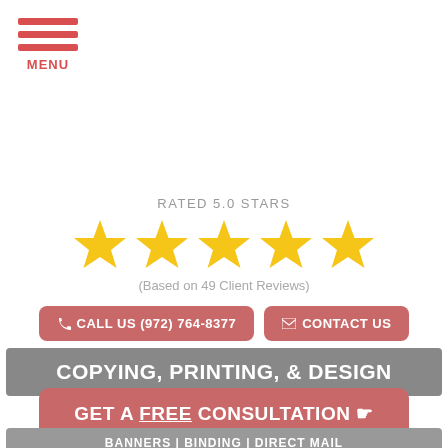[Figure (infographic): Hamburger menu icon with three red horizontal bars and MENU label below]
RATED 5.0 STARS
[Figure (infographic): Five gold star rating icons]
(Based on 49 Client Reviews)
☎ CALL US (972) 764-8377
✉ CONTACT US
COPYING, PRINTING, & DESIGN
GET A FREE CONSULTATION 👆
BANNERS | BINDING | DIRECT MAIL